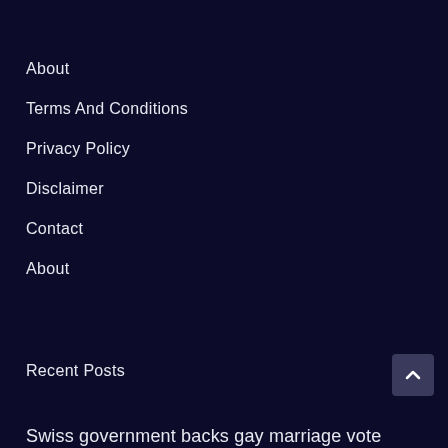About
Terms And Conditions
Privacy Policy
Disclaimer
Contact
About
Recent Posts
Swiss government backs gay marriage vote